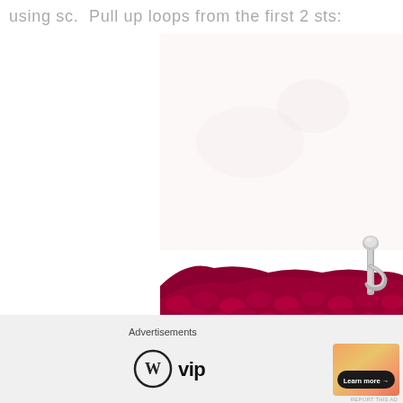using sc.  Pull up loops from the first 2 sts:
[Figure (photo): Close-up photo of crimson/dark red crochet fabric being worked with a silver crochet hook, on a white background. The hook is visible in the upper right corner, and the textured crochet stitches fill the lower portion of the image.]
[Figure (other): Close button (X in circle) overlay on the photo]
Advertisements
[Figure (logo): WordPress VIP logo — W circle icon followed by 'vip' text]
[Figure (other): Advertisement banner with gradient orange/peach background and 'Learn more →' button]